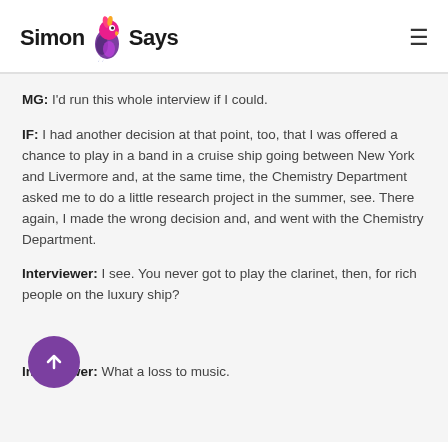Simon Says
MG: I'd run this whole interview if I could.
IF: I had another decision at that point, too, that I was offered a chance to play in a band in a cruise ship going between New York and Livermore and, at the same time, the Chemistry Department asked me to do a little research project in the summer, see. There again, I made the wrong decision and, and went with the Chemistry Department.
Interviewer: I see. You never got to play the clarinet, then, for rich people on the luxury ship?
Interviewer: What a loss to music.